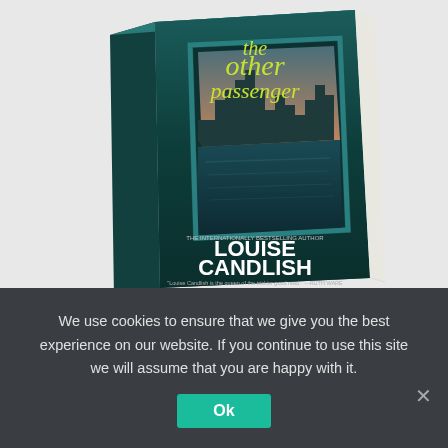[Figure (photo): Book cover of 'The Other Passenger' by Louise Candlish. Dark teal cover showing a view through a ferry/boat window of a city skyline at dusk with water reflections. Title in yellow-green text, author name in white text at bottom.]
Joseph Cross To Direct Adaptation Of 'The Oth…
We use cookies to ensure that we give you the best experience on our website. If you continue to use this site we will assume that you are happy with it.